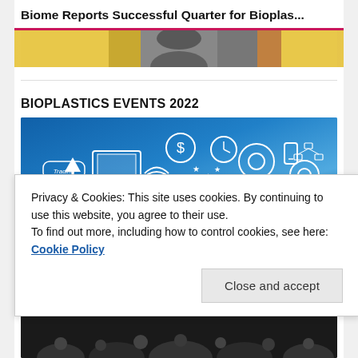Biome Reports Successful Quarter for Bioplas...
[Figure (photo): Partial image with gold/yellow and grey tones, appears to be a cropped banner image]
BIOPLASTICS EVENTS 2022
[Figure (illustration): Blue background illustration with technology and business icons: laptop, gears, wifi symbol, arrows, dollar sign, clock, phone, maps, people figures, and other digital economy symbols]
Privacy & Cookies: This site uses cookies. By continuing to use this website, you agree to their use.
To find out more, including how to control cookies, see here: Cookie Policy
Close and accept
[Figure (photo): Dark image showing audience silhouettes at bottom of page]